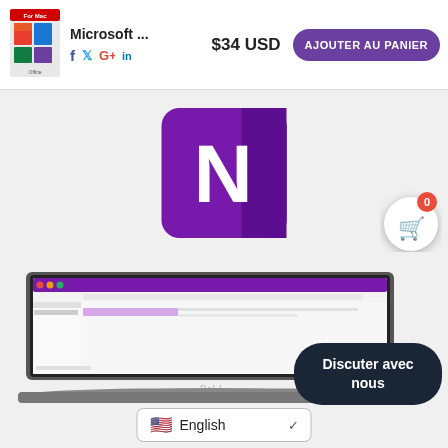[Figure (screenshot): E-commerce page header with Microsoft Office product image, product name 'Microsoft ...', social share icons (Facebook, Twitter, Google+, LinkedIn), price '$34 USD', and purple 'AJOUTER AU PANIER' button]
[Figure (logo): Microsoft OneNote purple logo icon with letter N]
[Figure (screenshot): Dell laptop showing Microsoft OneNote application open on screen]
[Figure (infographic): Shopping cart badge with count 0 in red circle]
Discuter avec nous
English